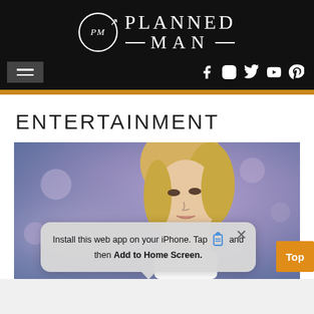[Figure (logo): Planned Man website logo — circular PM emblem with arrow and 'PLANNED —MAN—' text in white on black background]
[Figure (screenshot): Navigation bar with hamburger menu on left and social media icons (Facebook, Instagram, Twitter, YouTube, Pinterest) on right, on black background]
ENTERTAINMENT
[Figure (photo): Blonde woman on a stage or TV set with purple/blue blurred background, partially obscured by iOS install web app popup dialog]
Install this web app on your iPhone. Tap and then Add to Home Screen.